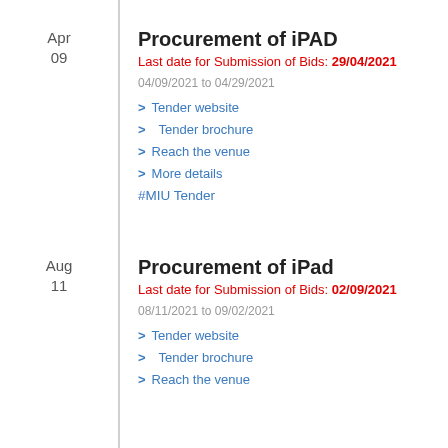Procurement of iPAD
Last date for Submission of Bids: 29/04/2021
04/09/2021 to 04/29/2021
> Tender website
> Tender brochure
> Reach the venue
> More details
#MIU Tender
Procurement of iPad
Last date for Submission of Bids: 02/09/2021
08/11/2021 to 09/02/2021
> Tender website
> Tender brochure
> Reach the venue